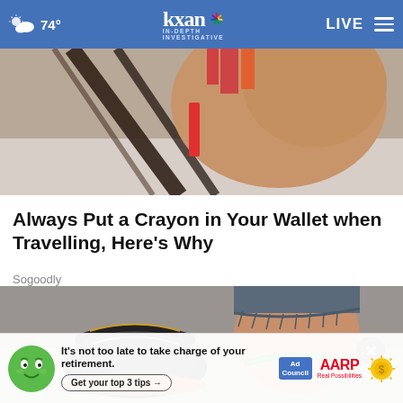74° kxan IN-DEPTH INVESTIGATIVE LIVE
[Figure (photo): Close-up of a person's hand holding what appears to be a wallet with a crayon, against a light background with colorful elements]
Always Put a Crayon in Your Wallet when Travelling, Here's Why
Sogoodly
[Figure (photo): Close-up of feet wearing black sandals with ankle accessories, outdoors on stone surface]
[Figure (infographic): AARP advertisement banner: It's not too late to take charge of your retirement. Get your top 3 tips → Ad Council AARP Real Possibilities with green mascot and sun icon]